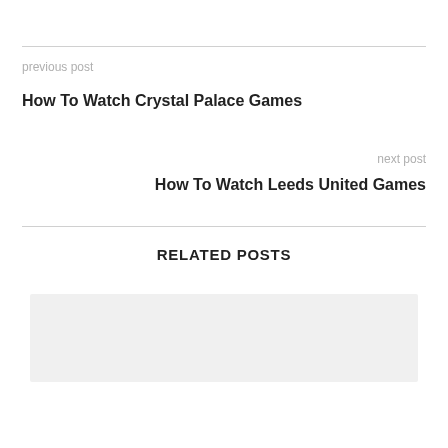previous post
How To Watch Crystal Palace Games
next post
How To Watch Leeds United Games
RELATED POSTS
[Figure (photo): Gray placeholder image for a related post]